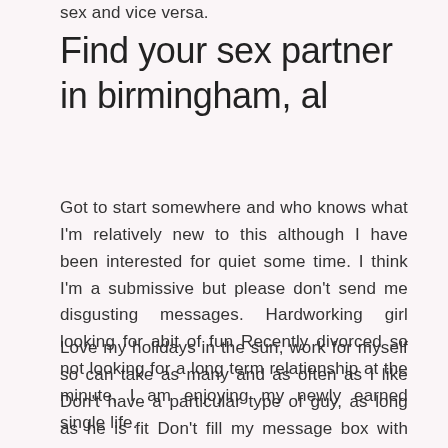sex and vice versa.
Find your sex partner in birmingham, al
Got to start somewhere and who knows what I'm relatively new to this although I have been interested for quiet some time. I think I'm a submissive but please don't send me disgusting messages. Hardworking girl looking for abit of fun Recently divorced so not looking for a long term relationship at the minute, I am enjoying my newly earned single life.
Love my holidays in the sun, work for myself so can take as many and as often as I like Don't have a particular type of guy, as long as he is fit Don't fill my message box with winks I won't reply In a sexless marriage and need fun If you want some